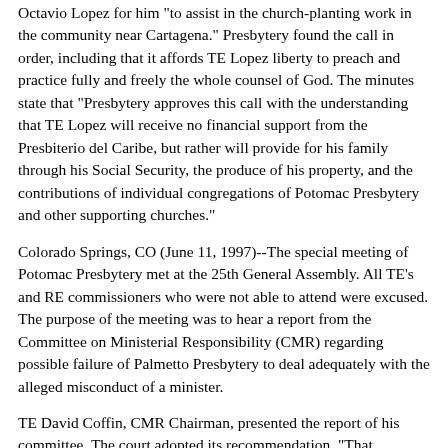Octavio Lopez for him "to assist in the church-planting work in the community near Cartagena." Presbytery found the call in order, including that it affords TE Lopez liberty to preach and practice fully and freely the whole counsel of God. The minutes state that "Presbytery approves this call with the understanding that TE Lopez will receive no financial support from the Presbiterio del Caribe, but rather will provide for his family through his Social Security, the produce of his property, and the contributions of individual congregations of Potomac Presbytery and other supporting churches."
Colorado Springs, CO (June 11, 1997)--The special meeting of Potomac Presbytery met at the 25th General Assembly. All TE's and RE commissioners who were not able to attend were excused. The purpose of the meeting was to hear a report from the Committee on Ministerial Responsibility (CMR) regarding possible failure of Palmetto Presbytery to deal adequately with the alleged misconduct of a minister.
TE David Coffin, CMR Chairman, presented the report of his committee. The court adopted its recommendation, "That Presbytery relieve CMR of responsibility to pursue further inquiries and that Presbytery conclude its consideration of this matter."
The CMR report, appended to the Presbytery minutes, states that the relevant portion of the Constitution (BCO 34-1) by which two